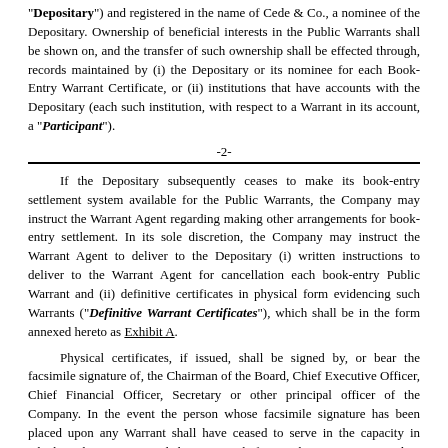"Depositary") and registered in the name of Cede & Co., a nominee of the Depositary. Ownership of beneficial interests in the Public Warrants shall be shown on, and the transfer of such ownership shall be effected through, records maintained by (i) the Depositary or its nominee for each Book-Entry Warrant Certificate, or (ii) institutions that have accounts with the Depositary (each such institution, with respect to a Warrant in its account, a "Participant").
-2-
If the Depositary subsequently ceases to make its book-entry settlement system available for the Public Warrants, the Company may instruct the Warrant Agent regarding making other arrangements for book-entry settlement. In its sole discretion, the Company may instruct the Warrant Agent to deliver to the Depositary (i) written instructions to deliver to the Warrant Agent for cancellation each book-entry Public Warrant and (ii) definitive certificates in physical form evidencing such Warrants ("Definitive Warrant Certificates"), which shall be in the form annexed hereto as Exhibit A.
Physical certificates, if issued, shall be signed by, or bear the facsimile signature of, the Chairman of the Board, Chief Executive Officer, Chief Financial Officer, Secretary or other principal officer of the Company. In the event the person whose facsimile signature has been placed upon any Warrant shall have ceased to serve in the capacity in which such person signed the Warrant before such Warrant is issued, it may be issued with the same effect as if he or she had not ceased to be such at the date of issuance.
2.3.2. Registered Holder. Prior to due presentment for registration of transfer of any Warrant, the Company and the Warrant Agent may